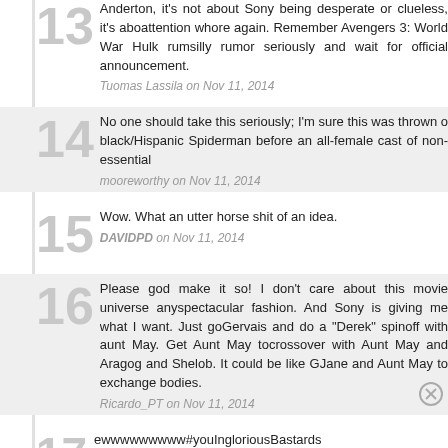13 Anderton, it's not about Sony being desperate or clueless, it's about attention whore again. Remember Avengers 3: World War Hulk rum silly rumor seriously and wait for official announcement.
Tuomas Lassila on Nov 11, 2014
14 No one should take this seriously; I'm sure this was thrown o black/Hispanic Spiderman before an all-female cast of non-essential
mooreworthy on Nov 11, 2014
15 Wow. What an utter horse shit of an idea.
DAVIDPD on Nov 11, 2014
16 Please god make it so! I don't care about this movie universe any spectacular fashion. And Sony is giving me what I want. Just go Gervais and do a "Derek" spinoff with aunt May. Get Aunt May to crossover with Aunt May and Aragog and Shelob. It could be like G Jane and Aunt May to exchange bodies.
Ricardo_PT on Nov 11, 2014
17 ewwwwwwwww#youIngloriousBastards